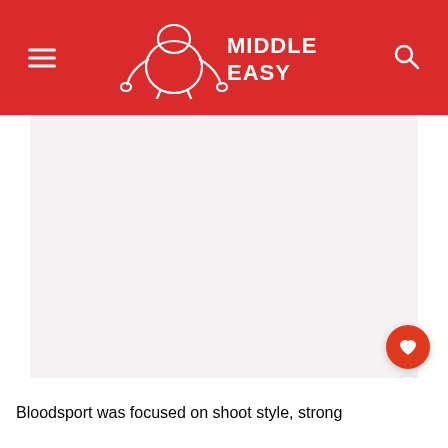Middle Easy
[Figure (photo): Large blank/white image placeholder area below the header]
Bloodsport was focused on shoot style, strong